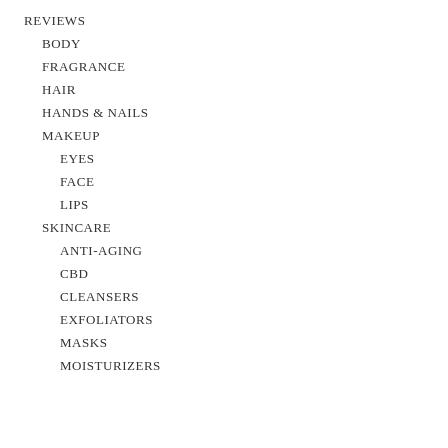REVIEWS
BODY
FRAGRANCE
HAIR
HANDS & NAILS
MAKEUP
EYES
FACE
LIPS
SKINCARE
ANTI-AGING
CBD
CLEANSERS
EXFOLIATORS
MASKS
MOISTURIZERS